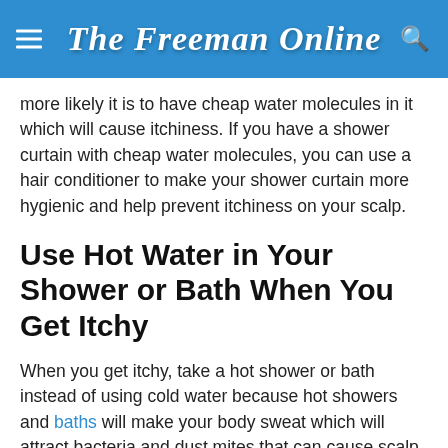The Freeman Online
more likely it is to have cheap water molecules in it which will cause itchiness. If you have a shower curtain with cheap water molecules, you can use a hair conditioner to make your shower curtain more hygienic and help prevent itchiness on your scalp.
Use Hot Water in Your Shower or Bath When You Get Itchy
When you get itchy, take a hot shower or bath instead of using cold water because hot showers and baths will make your body sweat which will attract bacteria and dust mites that can cause scalp itch.